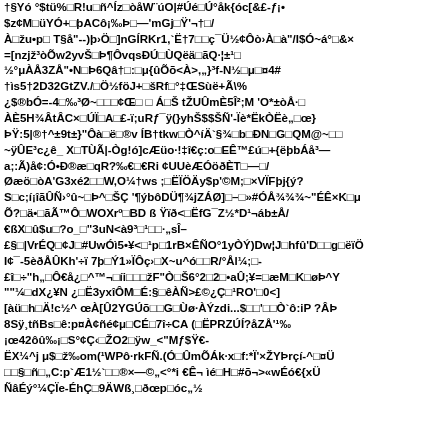†§Yó °$tü%□R!u□ñ^Íz□òåW¨úO|#Úé□Ú°åk{óc[&£-ƒ¡• $z¢M□üYÓ+□þACô¡‰Þ□—'mGj□Ÿ'¬†□/ À□žu•p□ T§å"--)þ›Ö□]nGÍRKr1,`Ë†7□□ç¯Ü½¢Ôò›À□à"/I$Ó~á°□&× =[nzjž³òÕw2yvŠ□Þ¶ÔvqsÐÚ□ÙQëä□ãQ·¦±¹□ ½°μÀÅ3ZÅ"•N□Þ6Qâ†□:□μ{ûÕõ<À>,„}³f-N½□μ□¤4# †ìs5†2D32GtZV./□Ö½föJ+□šRf□°‡ŒSùë+Ã\% ¿$®bÓ=-4□‰³Ø~□□□¢Œ□ □ Á□Š tŽUÛmÈ5Î²;M 'O*±òÅ·□ ÀÈ5H¾ÂtÂC×□ÚÏ□A□£-ï;uRƒ¯ÿ(}yhŠ$$ŠÑ'-Ïè*ËkÒËè„□œ} ÞŸ:5|®†^±9t±}"Ôà□ë□®v ÍB†tkw□Ò^íÄ`§¾□b□ÐN□G□QM@~□□ ~ÿÛE³c¿ê_ X□TÙÃ|-Òg!ó]cÆüo·!‡î€ç:o□EÊ™£ú□+{ëþbÁå³—a;:Ã)å¢:Ó•Ð®æ□qR?‰€□€Ri ¢UUèÆÓöðÈT□—□/ Øæö□òA'G3xé2□□W,O¼†ws ;□ËÏÖÄy$p'©M;□×VÏFþj{ý? S□c;í¡îãÛÑ›°û~□Þ^□ŠÇ '¶ýbôDÜ¶¾jZÁØ]□–□»#ÓÅ¾¾¾~"ÉÊ×K□μ Õ?□ä•□ãÃ™Ô□WOXrº□BD ß Ÿïð<□ËfG¯Z½*D¹¬áb±Å/ €ßX□û$u□?o_□"3uN<à9³□¹□□·„sÎ– £§□|VrÉQ□¢J□#UwÓì5•¥<□¹p□1rB×ÊÑO°1yÒÝ)Dw¦J□hfû'D□□g□ëïÖ I¢¯-5èðÅÛKh'÷ï 7þ□Ý1»ÏÔç›□X~u^ó□□R/°Ål¼;□- £î□÷"h„□Ô€å¿□^™¬□íi□□□žF"Ò□Š6°2□2□•aÛ;¥=□æM□K□øÞ^Y ""¼□dX¿¥N ¿□Ë3yxîÔM□É:§□êÀÑ>£©¿Ç□¹RO'□0<] [àü□h□Ä!c½^  œÀ[Û2YGÚõ□□G□Ùø·ÀÝzdi...$□□'□□Ò`ô:iP ?ÂÞ 8Sÿ¸tñBs□ê:p¤À¢ñé¢μ□CÉ□7î÷CA (□ËPRZÚÍ?åZÅ'¹‰ ¡œ42ôû‰¡□S°¢Ç‹□ŽO2□ÿw_<"Mƒ$Ÿ€- ËX¼^j μ$□ž‰om(¹WPô·rkFÑ.(Ó□ÛmÕÁk·x□f:*Ï'×ŽYÞrçí-^□¤Ü □□§□ñ□„C:p`Æ1½`□□®×—©„<°*i €Ê¬ ìé□H□#õ¬>«wÉó€{xÜ ÑâÉý°¼ÇÏe-ÉhÇ□9ÄWß¸□ðœp□óc„½